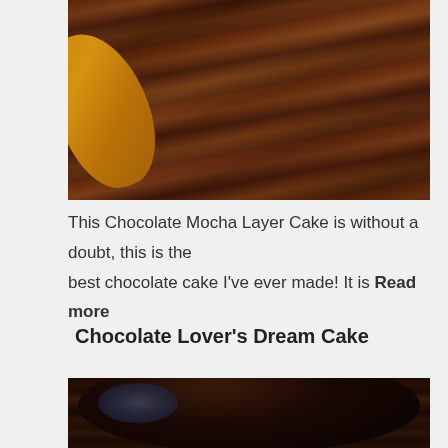[Figure (photo): Close-up cross-section of a chocolate mocha layer cake with frosting, partially cropped at top]
This Chocolate Mocha Layer Cake is without a doubt, this is the best chocolate cake I've ever made! It is Read more
Chocolate Lover's Dream Cake
[Figure (photo): Close-up of a chocolate bundt cake covered in thick glossy chocolate ganache glaze, partially visible]